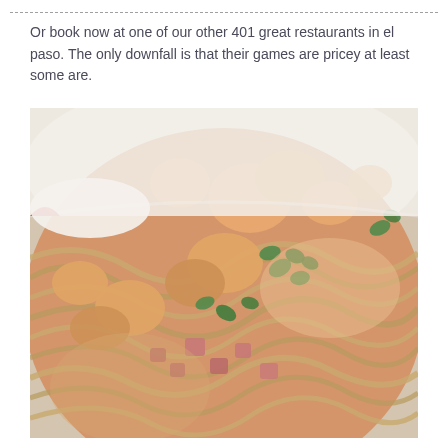Or book now at one of our other 401 great restaurants in el paso. The only downfall is that their games are pricey at least some are.
[Figure (photo): Close-up photo of a pasta dish in a white bowl, featuring fettuccine noodles with creamy sauce, chunks of shrimp or chicken, diced tomatoes or ham, and fresh green herb garnish (parsley or basil).]